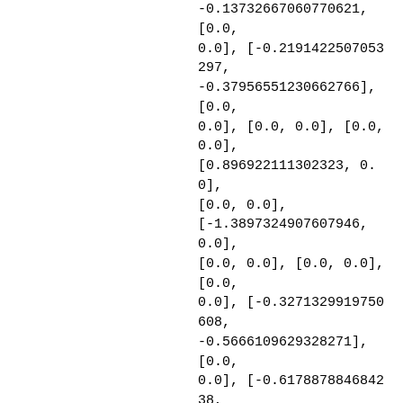-0.13732667060770621, [0.0, 0.0], [-0.2191422507053297, -0.37956551230662766], [0.0, 0.0], [0.0, 0.0], [0.0, 0.0], [0.896922111302323, 0.0], [0.0, 0.0], [-1.3897324907607946, 0.0], [0.0, 0.0], [0.0, 0.0], [0.0, 0.0], [-0.3271329919750608, -0.5666109629328271], [0.0, 0.0], [-0.617887884684238, 1.0702132096543597], [0.0, 0.0], [0.0, 0.0], [0.0, 0.0], [-0.6313003826594249, 1.0934443376037981], [0.0, 0.0], [-0.5002352176521826, -0.8664328127088559], [0.0, 0.0], [0.0, 0.0], [0.0, 0.0], [-1.5386454451673794, 0.0], [0.0, 0.0], [-0.826325127200E464, 0.0]